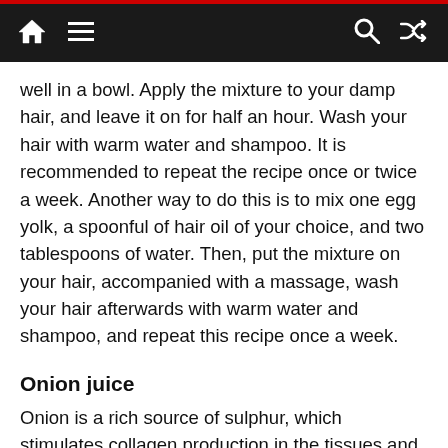[Navigation bar with home, menu, search, and shuffle icons]
well in a bowl. Apply the mixture to your damp hair, and leave it on for half an hour. Wash your hair with warm water and shampoo. It is recommended to repeat the recipe once or twice a week. Another way to do this is to mix one egg yolk, a spoonful of hair oil of your choice, and two tablespoons of water. Then, put the mixture on your hair, accompanied with a massage, wash your hair afterwards with warm water and shampoo, and repeat this recipe once a week.
Onion juice
Onion is a rich source of sulphur, which stimulates collagen production in the tissues and helps in hair